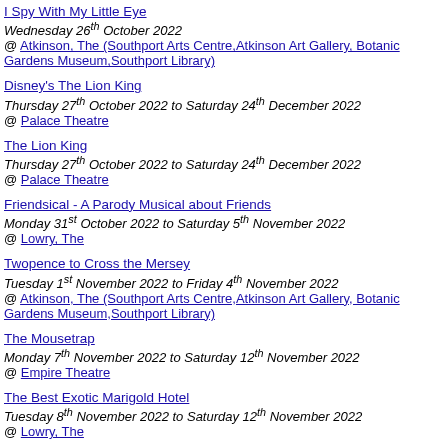I Spy With My Little Eye
Wednesday 26th October 2022
@ Atkinson, The (Southport Arts Centre,Atkinson Art Gallery, Botanic Gardens Museum,Southport Library)
Disney's The Lion King
Thursday 27th October 2022 to Saturday 24th December 2022
@ Palace Theatre
The Lion King
Thursday 27th October 2022 to Saturday 24th December 2022
@ Palace Theatre
Friendsical - A Parody Musical about Friends
Monday 31st October 2022 to Saturday 5th November 2022
@ Lowry, The
Twopence to Cross the Mersey
Tuesday 1st November 2022 to Friday 4th November 2022
@ Atkinson, The (Southport Arts Centre,Atkinson Art Gallery, Botanic Gardens Museum,Southport Library)
The Mousetrap
Monday 7th November 2022 to Saturday 12th November 2022
@ Empire Theatre
The Best Exotic Marigold Hotel
Tuesday 8th November 2022 to Saturday 12th November 2022
@ Lowry, The